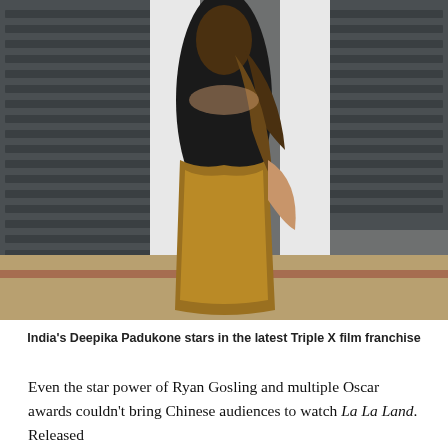[Figure (photo): A woman in a black and gold sequined gown posing with her back to the camera and looking over her shoulder. She has long wavy brown hair and is standing in front of a building with shuttered windows and large white columns.]
India's Deepika Padukone stars in the latest Triple X film franchise
Even the star power of Ryan Gosling and multiple Oscar awards couldn't bring Chinese audiences to watch La La Land. Released